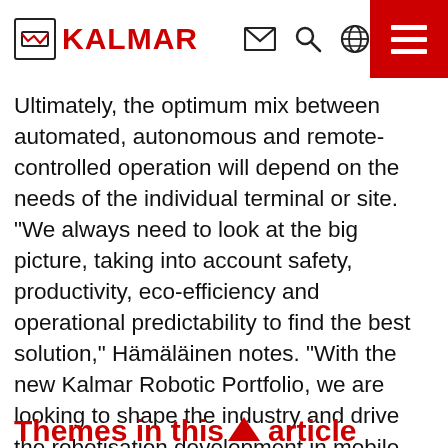KALMAR
Ultimately, the optimum mix between automated, autonomous and remote-controlled operation will depend on the needs of the individual terminal or site. "We always need to look at the big picture, taking into account safety, productivity, eco-efficiency and operational predictability to find the best solution," Hämäläinen notes. "With the new Kalmar Robotic Portfolio, we are looking to shape the industry and drive the robotisation development in mobile equipment, while making robotics accessible to completely new customer segments."
Themes in this article